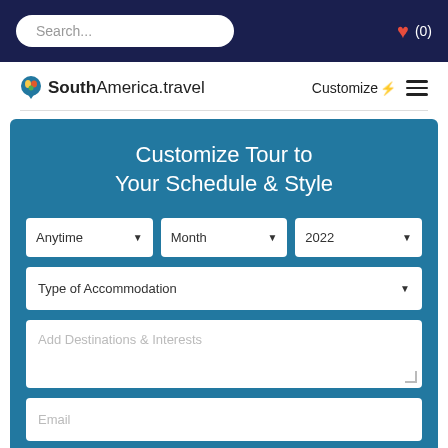Search... ❤ (0)
[Figure (logo): SouthAmerica.travel logo with colorful map pin icon]
Customize⚡ ☰
Customize Tour to Your Schedule & Style
Anytime ▼  Month ▼  2022 ▼
Type of Accommodation ▼
Add Destinations & Interests
Email